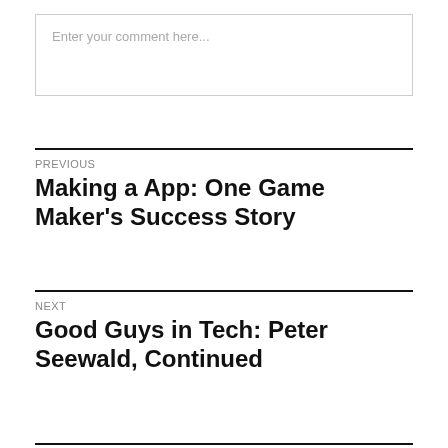Enter your comment here...
PREVIOUS
Making a App: One Game Maker's Success Story
NEXT
Good Guys in Tech: Peter Seewald, Continued